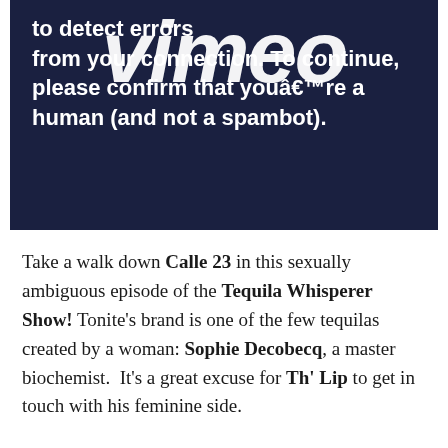[Figure (screenshot): Screenshot of Vimeo error page with dark navy background. Large white italic Vimeo logo overlaid with partial text reading: 'to detect errors from your connection. To continue, please confirm that youâ€™re a human (and not a spambot).']
Take a walk down Calle 23 in this sexually ambiguous episode of the Tequila Whisperer Show! Tonite’s brand is one of the few tequilas created by a woman: Sophie Decobecq, a master biochemist.  It's a great excuse for Th’ Lip to get in touch with his feminine side.